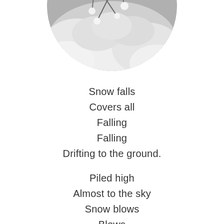[Figure (photo): A circular cropped black-and-white photograph showing snow-covered branches and plants, partially visible at the top of the page.]
Snow falls
Covers all
Falling
Falling
Drifting to the ground.

Piled high
Almost to the sky
Snow blows
Blows
Blows all around.